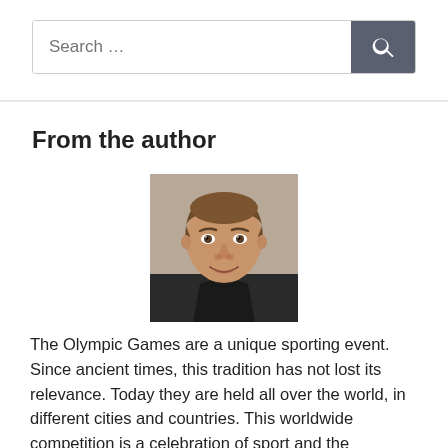Search …
From the author
[Figure (photo): Headshot of a young man with short brown hair, smiling, wearing a dark shirt, against a neutral background.]
The Olympic Games are a unique sporting event. Since ancient times, this tradition has not lost its relevance. Today they are held all over the world, in different cities and countries. This worldwide competition is a celebration of sport and the promotion of